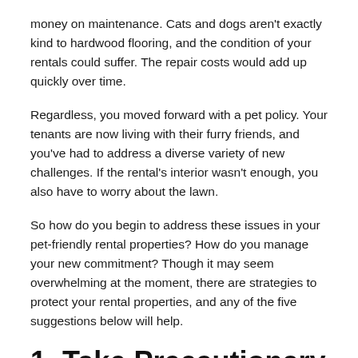money on maintenance. Cats and dogs aren't exactly kind to hardwood flooring, and the condition of your rentals could suffer. The repair costs would add up quickly over time.
Regardless, you moved forward with a pet policy. Your tenants are now living with their furry friends, and you've had to address a diverse variety of new challenges. If the rental's interior wasn't enough, you also have to worry about the lawn.
So how do you begin to address these issues in your pet-friendly rental properties? How do you manage your new commitment? Though it may seem overwhelming at the moment, there are strategies to protect your rental properties, and any of the five suggestions below will help.
1. Take Precautionary Measures